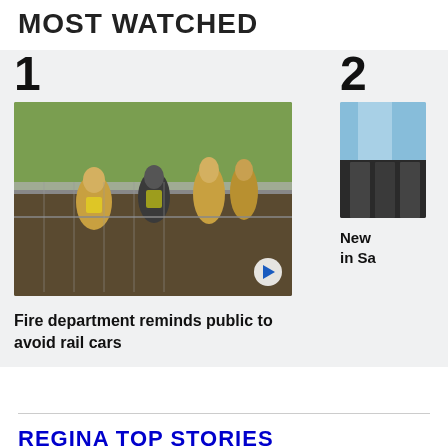MOST WATCHED
[Figure (photo): Firefighters rescuing or assisting someone near a rail car in a field]
Fire department reminds public to avoid rail cars
[Figure (photo): Partially visible image of a building with blue sky, item number 2]
New ... in Sa...
REGINA TOP STORIES
[Figure (photo): A man standing in front of a green and yellow Saskatchewan flag against a dark background]